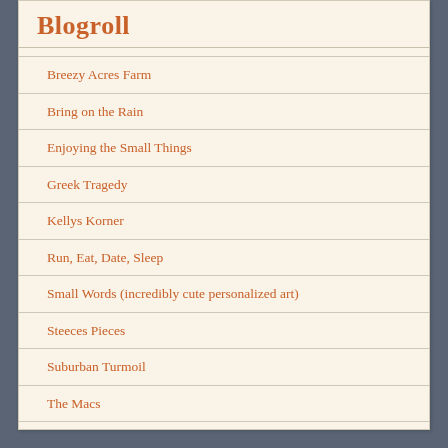Blogroll
Breezy Acres Farm
Bring on the Rain
Enjoying the Small Things
Greek Tragedy
Kellys Korner
Run, Eat, Date, Sleep
Small Words (incredibly cute personalized art)
Steeces Pieces
Suburban Turmoil
The Macs